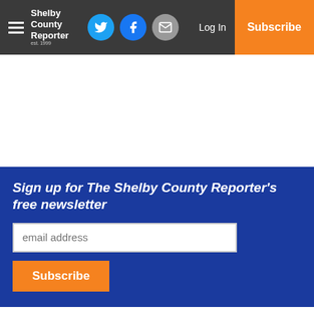Shelby County Reporter — Log In | Subscribe
[Figure (screenshot): White advertisement space]
Sign up for The Shelby County Reporter's free newsletter
email address
Subscribe
“The victims’ families have been notified, but out of respect to them, we’re not going to be releasing